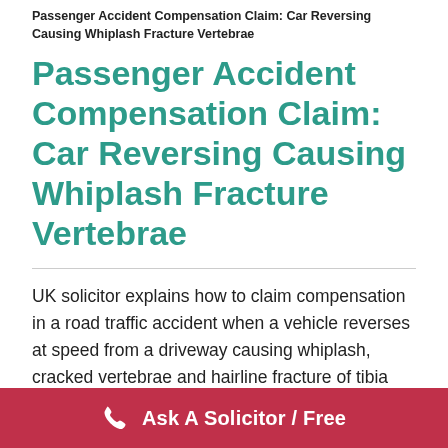Passenger Accident Compensation Claim: Car Reversing Causing Whiplash Fracture Vertebrae
Passenger Accident Compensation Claim: Car Reversing Causing Whiplash Fracture Vertebrae
UK solicitor explains how to claim compensation in a road traffic accident when a vehicle reverses at speed from a driveway causing whiplash, cracked vertebrae and hairline fracture of tibia
Passenger accident compensation
Ask A Solicitor / Free